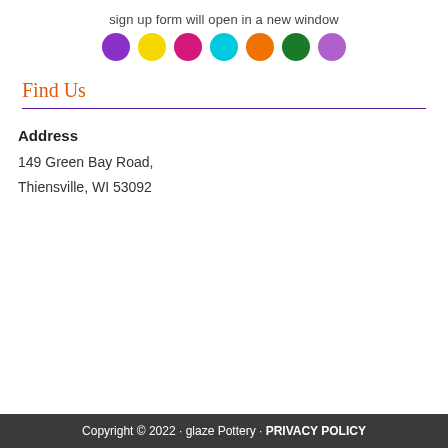sign up form will open in a new window
[Figure (illustration): Seven colored circles in a row: purple, yellow, magenta/pink, cyan, orange, dark green, light purple]
Find Us
Address
149 Green Bay Road, Thiensville, WI 53092
Copyright © 2022 · glaze Pottery · PRIVACY POLICY